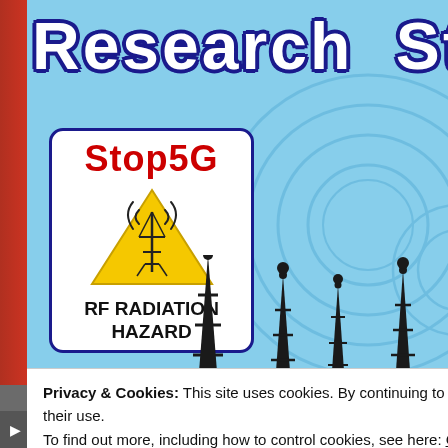[Figure (screenshot): Screenshot of a website called 'Research Sto[ries]' featuring a Stop5G RF Radiation Hazard logo (yellow warning triangle with antenna/signal icon), set against a light blue background with radio tower silhouettes, overlaid by a cookie consent banner reading 'Privacy & Cookies: This site uses cookies. By continuing to use this website, you agree to their use. To find out more, including how to control cookies, see here: Cookie Policy' with a 'Close and accept' button, and a dark gray video player toolbar at the bottom showing '0'.]